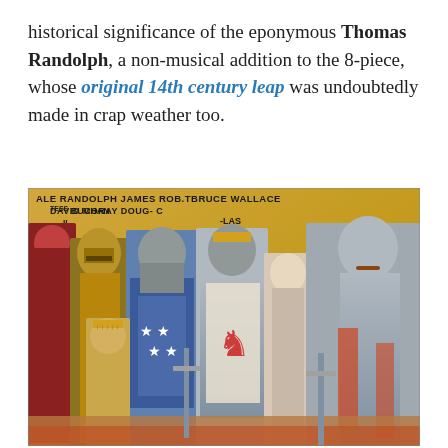historical significance of the eponymous Thomas Randolph, a non-musical addition to the 8-piece, whose original 14th century leap was undoubtedly made in crap weather too.
[Figure (illustration): A medieval-style painted mural or artwork depicting a group of armored knights and historical Scottish figures standing together. Labels at the top identify the figures: ALE, RANDOLPH, JAMES, ROB. BRUCE, WALLACE, DAVID, MORAY, DOUG-LAS, C'TESS BUCHAN. The figures wear chainmail, helmets, and surcoats, some bearing heraldic designs including stars on blue and a red lion.]